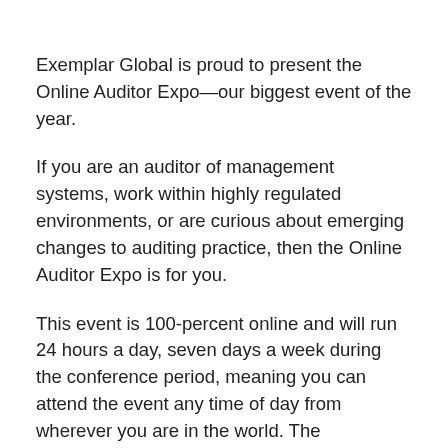Exemplar Global is proud to present the Online Auditor Expo—our biggest event of the year.
If you are an auditor of management systems, work within highly regulated environments, or are curious about emerging changes to auditing practice, then the Online Auditor Expo is for you.
This event is 100-percent online and will run 24 hours a day, seven days a week during the conference period, meaning you can attend the event any time of day from wherever you are in the world. The conference platform conveniently offers closed captioning in 100 languages, meaning everyone can benefit from this unique information regardless of their native tongue.
The Online Auditor Expo will feature 37 pre-recorded presentations from industry leaders, with a special focus on auditing in the age of